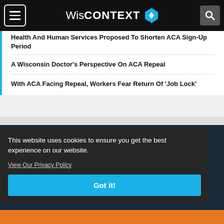WisCONTEXT
Health And Human Services Proposed To Shorten ACA Sign-Up Period
A Wisconsin Doctor's Perspective On ACA Repeal
With ACA Facing Repeal, Workers Fear Return Of 'Job Lock'
This website uses cookies to ensure you get the best experience on our website.
View Our Privacy Policy
Got it!